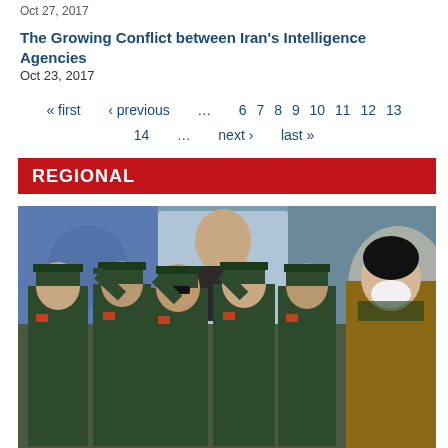Oct 27, 2017
The Growing Conflict between Iran's Intelligence Agencies
Oct 23, 2017
« first  ‹ previous  …  6  7  8  9  10  11  12  13  14  …  next ›  last »
REGIONAL
[Figure (photo): Iranian military officers in green uniforms and caps saluting a religious leader in brown robes and black turban, with a large portrait of Ayatollah Khomeini in the background.]